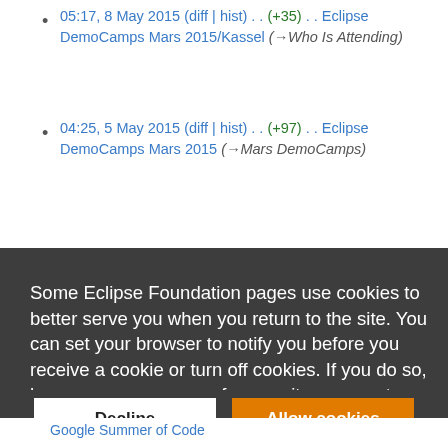05:17, 8 May 2015 (diff | hist) . . (+35) . . Eclipse DemoCamps Mars 2015/Kassel (→Who Is Attending)
04:25, 5 May 2015 (diff | hist) . . (+97) . . Eclipse DemoCamps Mars 2015 (→Mars DemoCamps)
Some Eclipse Foundation pages use cookies to better serve you when you return to the site. You can set your browser to notify you before you receive a cookie or turn off cookies. If you do so, however, some areas of some sites may not function properly. To read Eclipse Foundation Privacy Policy click here.
Google Summer of Code